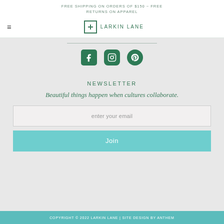FREE SHIPPING ON ORDERS OF $150 ~ FREE RETURNS ON APPAREL
[Figure (logo): Larkin Lane logo with cross icon and text LARKIN LANE]
[Figure (infographic): Social media icons: Facebook, Instagram, Pinterest in dark green]
NEWSLETTER
Beautiful things happen when cultures collaborate.
enter your email
Join
COPYRIGHT © 2022 LARKIN LANE | SITE DESIGN BY ANTHEM